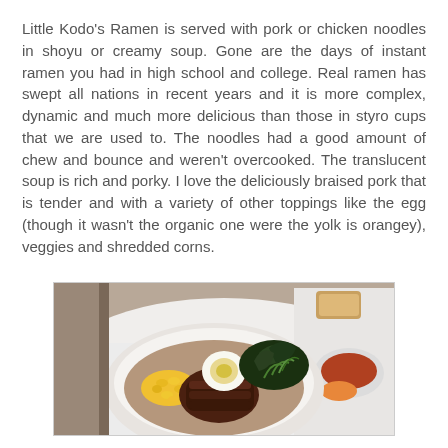Little Kodo's Ramen is served with pork or chicken noodles in shoyu or creamy soup. Gone are the days of instant ramen you had in high school and college. Real ramen has swept all nations in recent years and it is more complex, dynamic and much more delicious than those in styro cups that we are used to. The noodles had a good amount of chew and bounce and weren't overcooked. The translucent soup is rich and porky. I love the deliciously braised pork that is tender and with a variety of other toppings like the egg (though it wasn't the organic one were the yolk is orangey), veggies and shredded corns.
[Figure (photo): A white bowl containing ramen with braised pork, a soft-boiled egg, corn kernels, dark leafy greens, and other toppings, presented on a white tray with additional dishes visible in the background.]